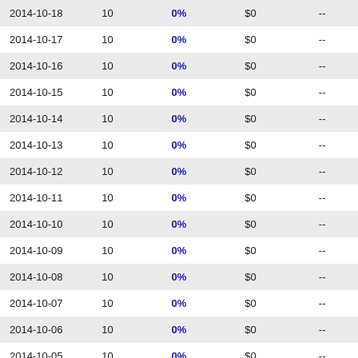| Date | Qty | Pct | Value | Other |
| --- | --- | --- | --- | --- |
| 2014-10-18 | 10 | 0% | $0 | -- |
| 2014-10-17 | 10 | 0% | $0 | -- |
| 2014-10-16 | 10 | 0% | $0 | -- |
| 2014-10-15 | 10 | 0% | $0 | -- |
| 2014-10-14 | 10 | 0% | $0 | -- |
| 2014-10-13 | 10 | 0% | $0 | -- |
| 2014-10-12 | 10 | 0% | $0 | -- |
| 2014-10-11 | 10 | 0% | $0 | -- |
| 2014-10-10 | 10 | 0% | $0 | -- |
| 2014-10-09 | 10 | 0% | $0 | -- |
| 2014-10-08 | 10 | 0% | $0 | -- |
| 2014-10-07 | 10 | 0% | $0 | -- |
| 2014-10-06 | 10 | 0% | $0 | -- |
| 2014-10-05 | 10 | 0% | $0 | -- |
| 2014-10-04 | 10 | 0% | $0 | -- |
| 2014-10-03 | 10 | 0% | $0 | -- |